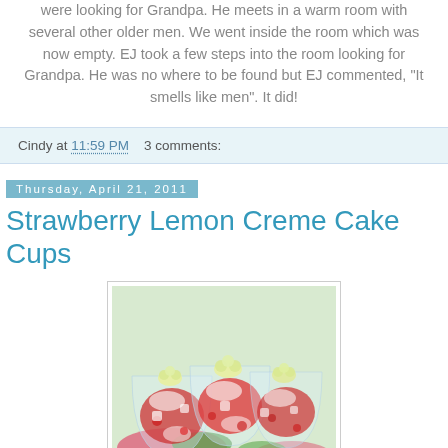were looking for Grandpa. He meets in a warm room with several other older men. We went inside the room which was now empty. EJ took a few steps into the room looking for Grandpa. He was no where to be found but EJ commented, "It smells like men". It did!
Cindy at 11:59 PM    3 comments:
Thursday, April 21, 2011
Strawberry Lemon Creme Cake Cups
[Figure (photo): Photo of glass cups filled with strawberry and cream cake dessert, topped with piped cream rosettes, arranged on a floral tablecloth]